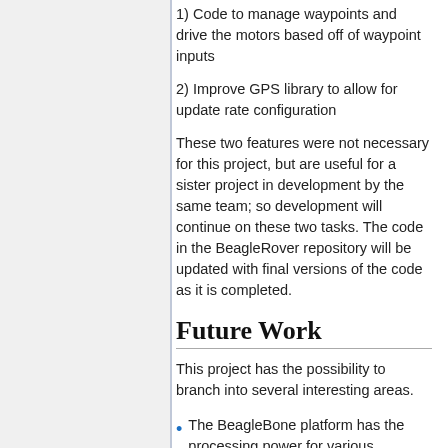1) Code to manage waypoints and drive the motors based off of waypoint inputs
2) Improve GPS library to allow for update rate configuration
These two features were not necessary for this project, but are useful for a sister project in development by the same team; so development will continue on these two tasks. The code in the BeagleRover repository will be updated with final versions of the code as it is completed.
Future Work
This project has the possibility to branch into several interesting areas.
The BeagleBone platform has the processing power for various interesting sensory systems, such as